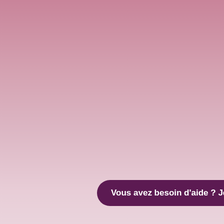[Figure (illustration): Pink gradient background fading from darker dusty rose at the top to lighter blush pink at the bottom]
Vous avez besoin d'aide ? Je suis là !